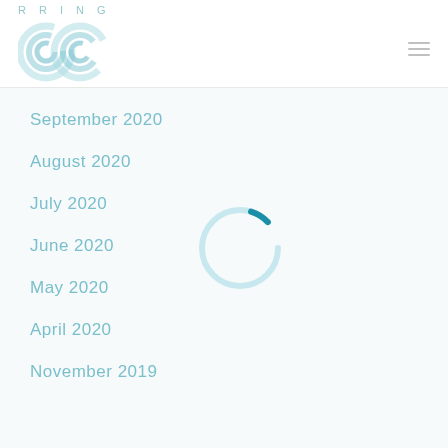RRING
September 2020
August 2020
July 2020
June 2020
May 2020
April 2020
November 2019
[Figure (other): Loading spinner: circular arc mostly light blue/teal with a small dark teal segment at the bottom-left, indicating a loading state]